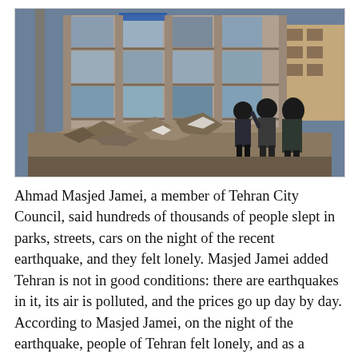[Figure (photo): Three people stand with their backs to the camera looking at a heavily damaged multi-story concrete building with exposed floors, rubble and debris surrounding it. The scene depicts earthquake destruction in an urban area.]
Ahmad Masjed Jamei, a member of Tehran City Council, said hundreds of thousands of people slept in parks, streets, cars on the night of the recent earthquake, and they felt lonely. Masjed Jamei added Tehran is not in good conditions: there are earthquakes in it, its air is polluted, and the prices go up day by day. According to Masjed Jamei, on the night of the earthquake, people of Tehran felt lonely, and as a result, they felt anxious and stressed.